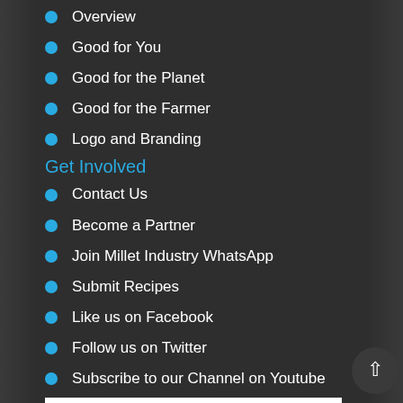Overview
Good for You
Good for the Planet
Good for the Farmer
Logo and Branding
Get Involved
Contact Us
Become a Partner
Join Millet Industry WhatsApp
Submit Recipes
Like us on Facebook
Follow us on Twitter
Subscribe to our Channel on Youtube
[Figure (logo): ICRISAT logo — green leaf and figure design with orange dot, green text spelling ICRISAT]